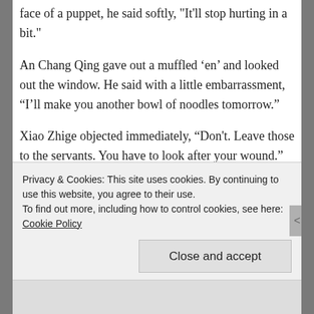face of a puppet, he said softly, "It'll stop hurting in a bit."
An Chang Qing gave out a muffled ‘en’ and looked out the window. He said with a little embarrassment, "I’ll make you another bowl of noodles tomorrow."
Xiao Zhige objected immediately, “Don't. Leave those to the servants. You have to look after your wound."
Advertisements
Privacy & Cookies: This site uses cookies. By continuing to use this website, you agree to their use.
To find out more, including how to control cookies, see here: Cookie Policy
Close and accept